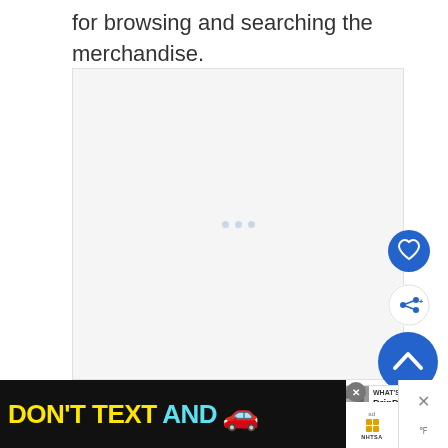for browsing and searching the merchandise.
[Figure (screenshot): A mostly blank content area with three small loading dots in the center, representing an embedded media or image placeholder on a webpage.]
[Figure (screenshot): UI overlay buttons: a blue heart/favorite button, a white share button, and a large blue scroll-to-top chevron button, positioned along the right side of the page.]
[Figure (screenshot): A 'What's Next' sidebar widget showing a DripDrop advertisement thumbnail and label.]
[Figure (screenshot): A banner advertisement with yellow and cyan text reading 'DON'T TEXT AND' with a red car emoji and NHTSA logo on black background.]